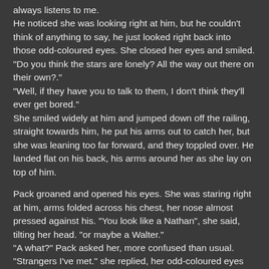always listens to me. He noticed she was looking right at him, but he couldn't think of anything to say, he just looked right back into those odd-coloured eyes. She closed her eyes and smiled. “Do you think the stars are lonely? All the way out there on their own?.” “Well, if they have you to talk to them, I don’t think they’ll ever get bored.” She smiled widely at him and jumped down off the railing, straight towards him, he put his arms out to catch her, but she was leaning too far forward, and they toppled over. He landed flat on his back, his arms around her as she lay on top of him.
Pack groaned and opened his eyes. She was staring right at him, arms folded across his chest, her nose almost pressed against his. “You look like a Nathan”, she said, tilting her head. “or maybe a Walter.” “A what?” Pack asked her, more confused than usual. “Strangers I’ve met.” she replied, her odd-coloured eyes staring right into him. “I’ve been trying to find someone like you over there.” “Why would you do that?”